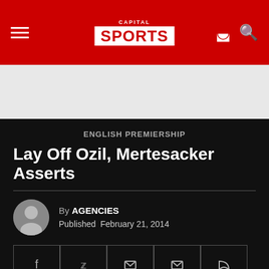CAPITAL SPORTS
ENGLISH PREMIERSHIP
Lay Off Ozil, Mertesacker Asserts
By AGENCIES
Published February 21, 2014
This website uses cookies to improve your experience. We'll assume you're ok with this, but you can opt-out if you wish.
Cookie settings   ACCEPT